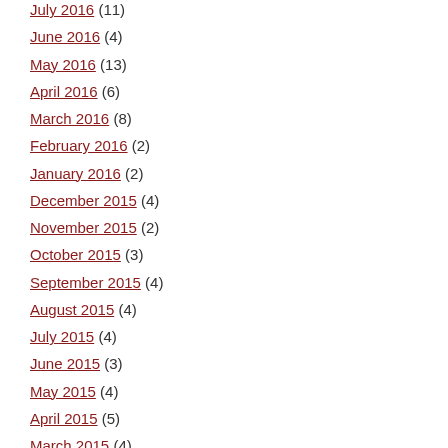July 2016 (11)
June 2016 (4)
May 2016 (13)
April 2016 (6)
March 2016 (8)
February 2016 (2)
January 2016 (2)
December 2015 (4)
November 2015 (2)
October 2015 (3)
September 2015 (4)
August 2015 (4)
July 2015 (4)
June 2015 (3)
May 2015 (4)
April 2015 (5)
March 2015 (4)
February 2015 (2)
January 2015 (3)